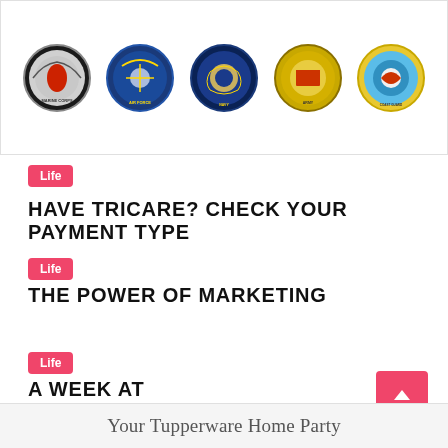[Figure (illustration): Five US military branch seals/emblems in a horizontal row: Marine Corps, Air Force, Navy, Army, Coast Guard]
Life
HAVE TRICARE? CHECK YOUR PAYMENT TYPE
Life
THE POWER OF MARKETING
Life
A WEEK AT HOME — ALONE
Your Tupperware Home Party